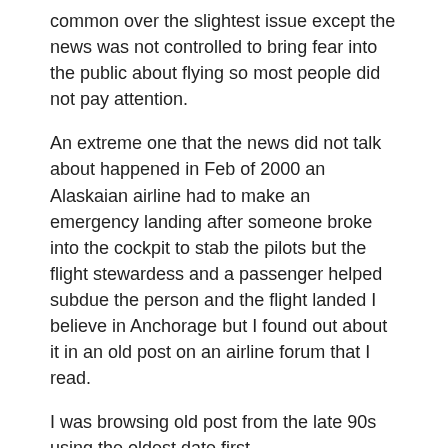common over the slightest issue except the news was not controlled to bring fear into the public about flying so most people did not pay attention.
An extreme one that the news did not talk about happened in Feb of 2000 an Alaskaian airline had to make an emergency landing after someone broke into the cockpit to stab the pilots but the flight stewardess and a passenger helped subdue the person and the flight landed I believe in Anchorage but I found out about it in an old post on an airline forum that I read.
I was browsing old post from the late 90s using the oldest date first.
Subscribe to comments on this entry
Leave a comment
Login
Name